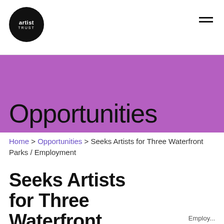artist trust
Opportunities
Home > Opportunities > Seeks Artists for Three Waterfront Parks / Employment
Seeks Artists for Three Waterfront Parks /